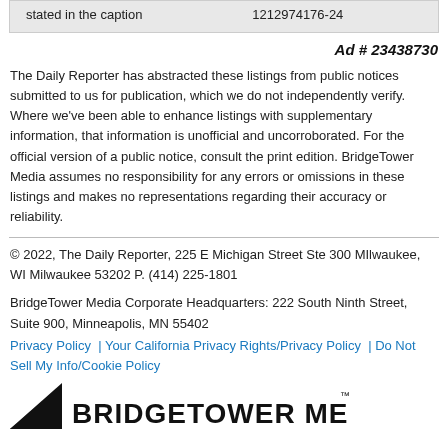| stated in the caption | 1212974176-24 |
Ad # 23438730
The Daily Reporter has abstracted these listings from public notices submitted to us for publication, which we do not independently verify. Where we've been able to enhance listings with supplementary information, that information is unofficial and uncorroborated. For the official version of a public notice, consult the print edition. BridgeTower Media assumes no responsibility for any errors or omissions in these listings and makes no representations regarding their accuracy or reliability.
© 2022, The Daily Reporter, 225 E Michigan Street Ste 300 MIlwaukee, WI Milwaukee 53202 P. (414) 225-1801

BridgeTower Media Corporate Headquarters: 222 South Ninth Street, Suite 900, Minneapolis, MN 55402
Privacy Policy | Your California Privacy Rights/Privacy Policy | Do Not Sell My Info/Cookie Policy
[Figure (logo): BridgeTower Media logo with triangular graphic element on the left and bold black text reading BRIDGETOWER MEDIA with a trademark symbol]